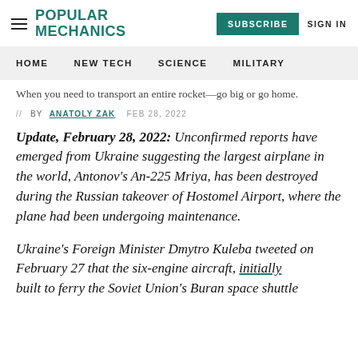Popular Mechanics | SUBSCRIBE | SIGN IN
HOME | NEW TECH | SCIENCE | MILITARY
When you need to transport an entire rocket—go big or go home.
// BY ANATOLY ZAK  FEB 28, 2022
Update, February 28, 2022: Unconfirmed reports have emerged from Ukraine suggesting the largest airplane in the world, Antonov's An-225 Mriya, has been destroyed during the Russian takeover of Hostomel Airport, where the plane had been undergoing maintenance.
Ukraine's Foreign Minister Dmytro Kuleba tweeted on February 27 that the six-engine aircraft, initially built to ferry the Soviet Union's Buran space shuttle